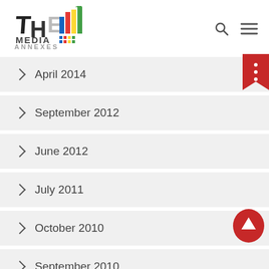[Figure (logo): The Media Annexes logo with colorful bar chart icon and text THEMEDIAANNEXES.ORG]
> April 2014
> September 2012
> June 2012
> July 2011
> October 2010
> September 2010